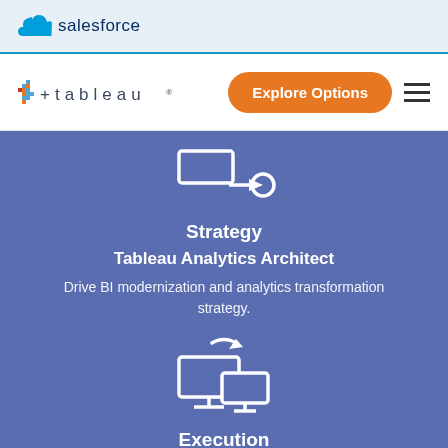salesforce
tableau  Explore Options
[Figure (illustration): White icon showing a rectangle with an arrow pointing right to a circle, representing a data flow or strategy concept, on blue-purple background]
Strategy
Tableau Analytics Architect
Drive BI modernization and analytics transformation strategy.
[Figure (illustration): White icon showing two computer monitors with a circular refresh/cycle arrow above them, on blue-purple background]
Execution